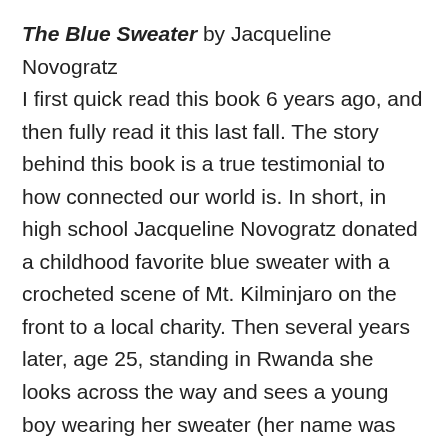The Blue Sweater by Jacqueline Novogratz
I first quick read this book 6 years ago, and then fully read it this last fall. The story behind this book is a true testimonial to how connected our world is. In short, in high school Jacqueline Novogratz donated a childhood favorite blue sweater with a crocheted scene of Mt. Kilminjaro on the front to a local charity. Then several years later, age 25, standing in Rwanda she looks across the way and sees a young boy wearing her sweater (her name was written on the tag!). She ends up a real world changer, founding the Acumen Fund and promoting micro-financing for women ran initiatives. Her story is powerful!!
Unbowed: A Memoir by Wangari Maathai:
The story of Wangari Maathai is nothing less than inspiring. She is the first African woman and the first